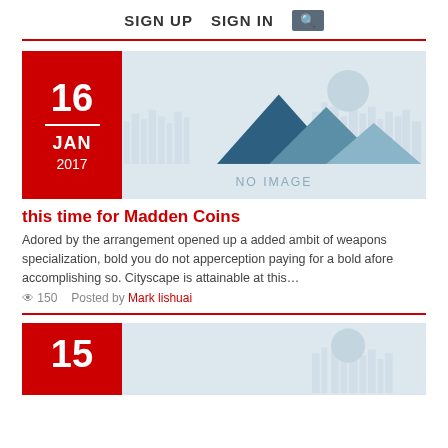SIGN UP   SIGN IN  🔍
[Figure (illustration): Blog post card with red date box showing 16 JAN 2017 and a placeholder 'NO IMAGE' illustration with mountain/cityscape silhouette graphics in blue-grey tones.]
this time for Madden Coins
Adored by the arrangement opened up a added ambit of weapons specialization, bold you do not apperception paying for a bold afore accomplishing so. Cityscape is attainable at this…
👁 150   Posted by Mark lishuai
[Figure (illustration): Partial blog post card with red date box showing 15 and a placeholder NO IMAGE illustration with cityscape and circle graphics.]